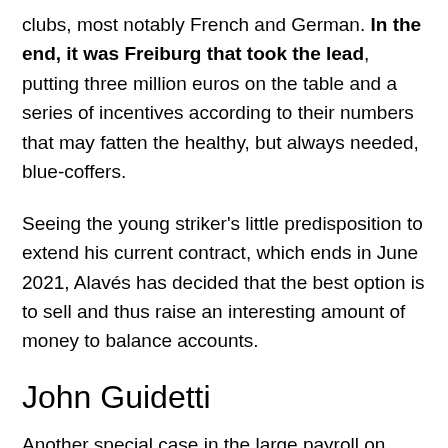clubs, most notably French and German. In the end, it was Freiburg that took the lead, putting three million euros on the table and a series of incentives according to their numbers that may fatten the healthy, but always needed, blue-coffers.
Seeing the young striker's little predisposition to extend his current contract, which ends in June 2021, Alavés has decided that the best option is to sell and thus raise an interesting amount of money to balance accounts.
John Guidetti
Another special case in the large payroll on loan is that of the Swedish battering ram. For the Alavés paid Celta four million euros after sealing the permanence in the course 17-18. However, with one of the highest chips in the squad, it still